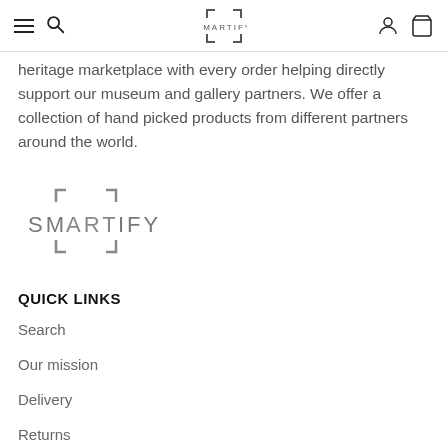SMARTIFY
heritage marketplace with every order helping directly support our museum and gallery partners. We offer a collection of hand picked products from different partners around the world.
[Figure (logo): Smartify logo with bracket corner marks around the ART portion]
QUICK LINKS
Search
Our mission
Delivery
Returns